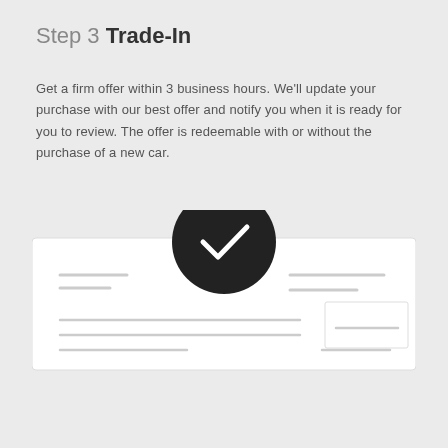Step 3 Trade-In
Get a firm offer within 3 business hours. We'll update your purchase with our best offer and notify you when it is ready for you to review. The offer is redeemable with or without the purchase of a new car.
[Figure (illustration): A stylized document/form illustration with a large dark circle containing a white checkmark overlapping the top center of the form. The form shows several horizontal gray lines representing text fields and a smaller white box in the bottom right corner.]